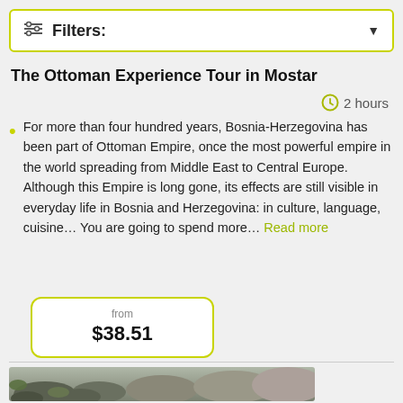Filters:
The Ottoman Experience Tour in Mostar
2 hours
For more than four hundred years, Bosnia-Herzegovina has been part of Ottoman Empire, once the most powerful empire in the world spreading from Middle East to Central Europe. Although this Empire is long gone, its effects are still visible in everyday life in Bosnia and Herzegovina: in culture, language, cuisine… You are going to spend more… Read more
from $38.51
[Figure (photo): Rocky landscape with green grass and stones]